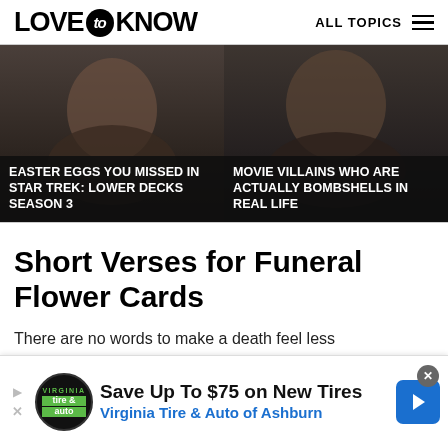LOVE to KNOW   ALL TOPICS
[Figure (photo): Two-panel image card: left shows a person from Star Trek Lower Decks, right shows a movie villain. Each has a dark overlay caption.]
EASTER EGGS YOU MISSED IN STAR TREK: LOWER DECKS SEASON 3
MOVIE VILLAINS WHO ARE ACTUALLY BOMBSHELLS IN REAL LIFE
Short Verses for Funeral Flower Cards
There are no words to make a death feel less
[Figure (infographic): Advertisement banner: Save Up To $75 on New Tires - Virginia Tire & Auto of Ashburn]